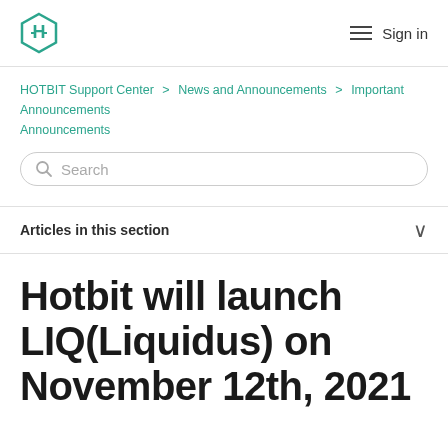HOTBIT logo | Sign in
HOTBIT Support Center > News and Announcements > Important Announcements
Search
Articles in this section
Hotbit will launch LIQ(Liquidus) on November 12th, 2021